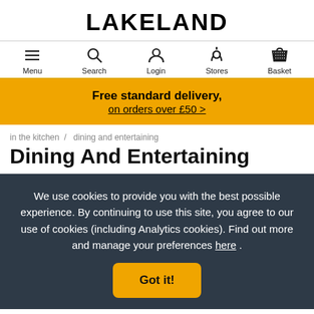LAKELAND
Menu  Search  Login  Stores  Basket
Free standard delivery, on orders over £50 >
in the kitchen / dining and entertaining
Dining And Entertaining
We use cookies to provide you with the best possible experience. By continuing to use this site, you agree to our use of cookies (including Analytics cookies). Find out more and manage your preferences here .
Got it!